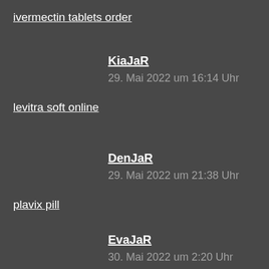ivermectin tablets order
KiaJaR
29. Mai 2022 um 16:14 Uhr
levitra soft online
DenJaR
29. Mai 2022 um 21:38 Uhr
plavix pill
EvaJaR
30. Mai 2022 um 2:20 Uhr